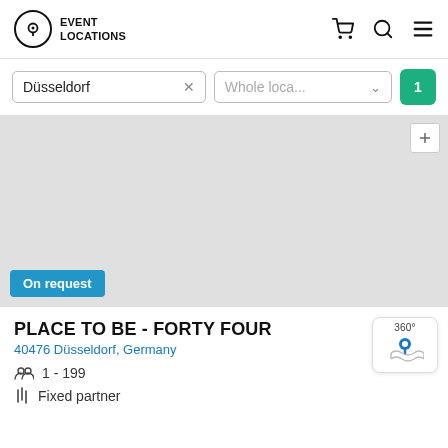EVENT LOCATIONS
Düsseldorf | Whole loca... | 1
[Figure (screenshot): Map showing a grey placeholder area for Düsseldorf event location search]
On request
PLACE TO BE - FORTY FOUR
40476 Düsseldorf, Germany
1 - 199
Fixed partner